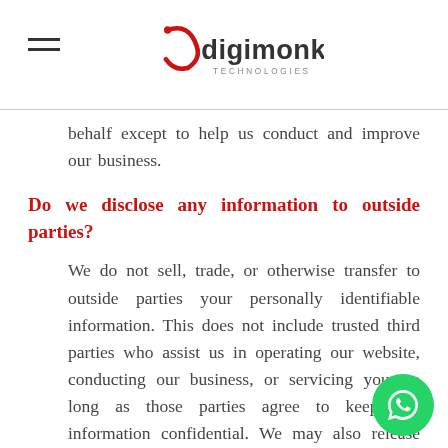digimonk TECHNOLOGIES
behalf except to help us conduct and improve our business.
Do we disclose any information to outside parties?
We do not sell, trade, or otherwise transfer to outside parties your personally identifiable information. This does not include trusted third parties who assist us in operating our website, conducting our business, or servicing you, so long as those parties agree to keep this information confidential. We may also release your information when we believe release is appropriate to comply with the law, enforce our site policies, or protect ours or others...